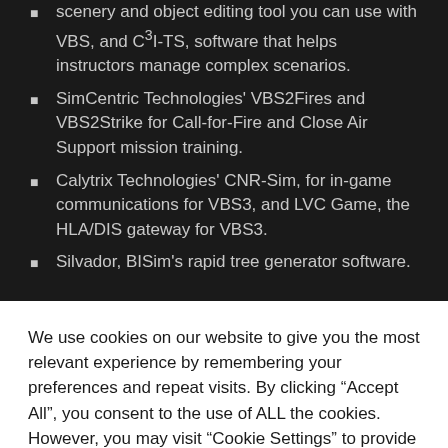scenery and object editing tool you can use with VBS, and C³I-TS, software that helps instructors manage complex scenarios.
SimCentric Technologies' VBS2Fires and VBS2Strike for Call-for-Fire and Close Air Support mission training.
Calytrix Technologies' CNR-Sim, for in-game communications for VBS3, and LVC Game, the HLA/DIS gateway for VBS3.
Silvador, BISim's rapid tree generator software.
We use cookies on our website to give you the most relevant experience by remembering your preferences and repeat visits. By clicking "Accept All", you consent to the use of ALL the cookies. However, you may visit "Cookie Settings" to provide a controlled consent.